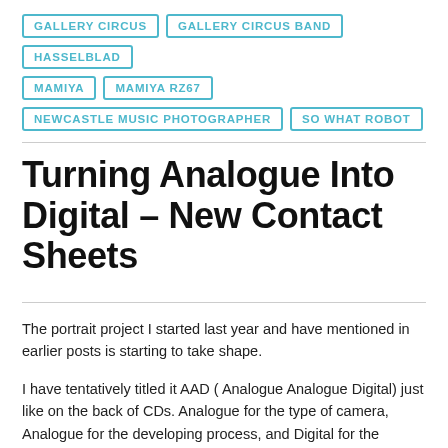GALLERY CIRCUS
GALLERY CIRCUS BAND
HASSELBLAD
MAMIYA
MAMIYA RZ67
NEWCASTLE MUSIC PHOTOGRAPHER
SO WHAT ROBOT
Turning Analogue Into Digital – New Contact Sheets
The portrait project I started last year and have mentioned in earlier posts is starting to take shape.
I have tentatively titled it AAD ( Analogue Analogue Digital) just like on the back of CDs. Analogue for the type of camera, Analogue for the developing process, and Digital for the printing.